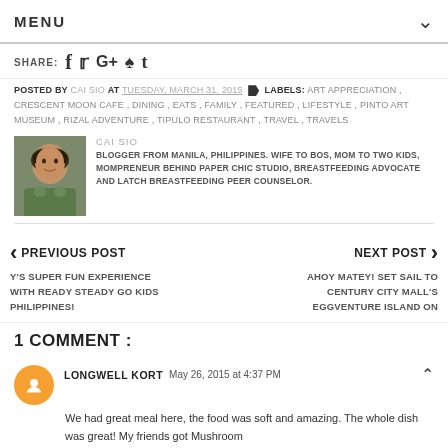MENU
SHARE: f  t  G+  P  t
POSTED BY CAI SIO AT TUESDAY, MARCH 31, 2015  LABELS: ART APPRECIATION , CRESCENT MOON CAFE , DINING , EATS , FAMILY , FEATURED , LIFESTYLE , PINTO ART MUSEUM , RIZAL ADVENTURE , TIPULO RESTAURANT , TRAVEL , TRAVELS
[Figure (photo): Author photo of Cai Sio, a woman with shoulder-length brown hair wearing a floral green top]
CAI SIO
BLOGGER FROM MANILA, PHILIPPINES. WIFE TO BOS, MOM TO TWO KIDS, MOMPRENEUR BEHIND PAPER CHIC STUDIO, BREASTFEEDING ADVOCATE AND LATCH BREASTFEEDING PEER COUNSELOR.
< PREVIOUS POST
Y'S SUPER FUN EXPERIENCE WITH READY STEADY GO KIDS PHILIPPINES!
NEXT POST >
AHOY MATEY! SET SAIL TO CENTURY CITY MALL'S EGGVENTURE ISLAND ON
1 COMMENT :
LONGWELL KORT  May 26, 2015 at 4:37 PM
We had great meal here, the food was soft and amazing. The whole dish was great! My friends got Mushroom